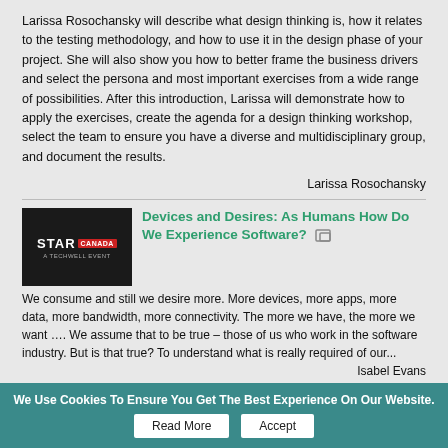Larissa Rosochansky will describe what design thinking is, how it relates to the testing methodology, and how to use it in the design phase of your project. She will also show you how to better frame the business drivers and select the persona and most important exercises from a wide range of possibilities. After this introduction, Larissa will demonstrate how to apply the exercises, create the agenda for a design thinking workshop, select the team to ensure you have a diverse and multidisciplinary group, and document the results.
Larissa Rosochansky
Devices and Desires: As Humans How Do We Experience Software?
We consume and still we desire more. More devices, more apps, more data, more bandwidth, more connectivity. The more we have, the more we want …. We assume that to be true – those of us who work in the software industry. But is that true? To understand what is really required of our...
Isabel Evans
Testing Imprecise Requirements
Articles on abc.net and elsewhere reported that Volvo has recently discovered a non-traditional requirement: Any self-driving vehicle must not from outside. A set disclaimer...
We Use Cookies To Ensure You Get The Best Experience On Our Website.